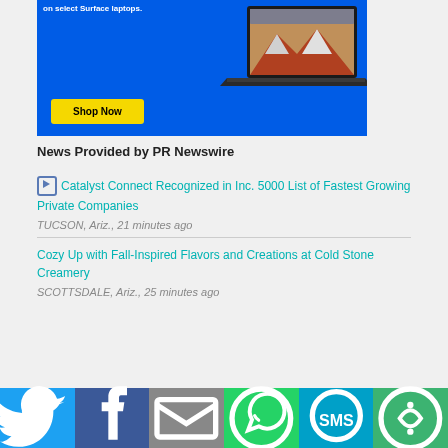[Figure (photo): Microsoft Surface laptop advertisement banner with blue background, laptop image, and yellow Shop Now button]
News Provided by PR Newswire
Catalyst Connect Recognized in Inc. 5000 List of Fastest Growing Private Companies
TUCSON, Ariz., 21 minutes ago
Cozy Up with Fall-Inspired Flavors and Creations at Cold Stone Creamery
SCOTTSDALE, Ariz., 25 minutes ago
[Figure (infographic): Social share bar with Twitter, Facebook, Email, WhatsApp, SMS, and More buttons]